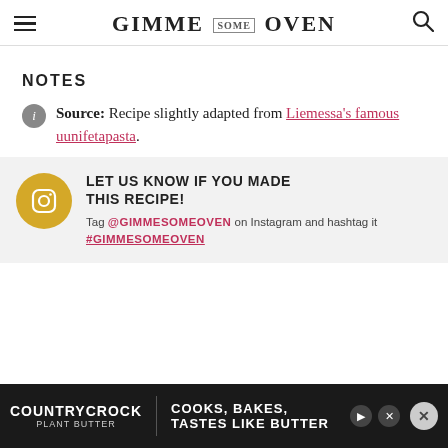GIMME SOME OVEN
NOTES
Source: Recipe slightly adapted from Liemessa’s famous uunifetapasta.
LET US KNOW IF YOU MADE THIS RECIPE! Tag @GIMMESOMEOVEN on Instagram and hashtag it #GIMMESOMEOVEN
[Figure (other): Country Crock Plant Butter advertisement banner: COOKS, BAKES, TASTES LIKE BUTTER]